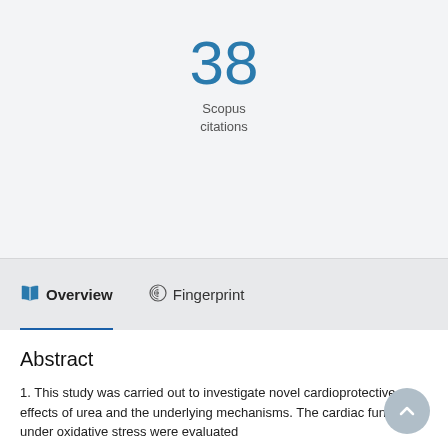38
Scopus
citations
Overview   Fingerprint
Abstract
1. This study was carried out to investigate novel cardioprotective effects of urea and the underlying mechanisms. The cardiac functions under oxidative stress were evaluated